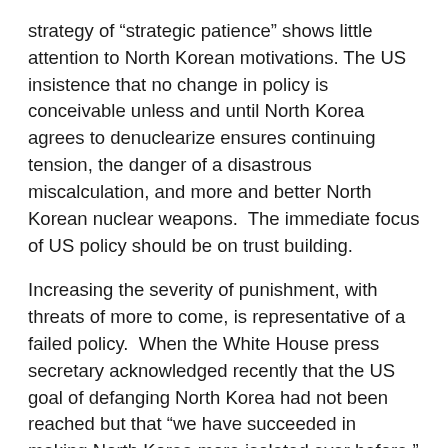strategy of “strategic patience” shows little attention to North Korean motivations. The US insistence that no change in policy is conceivable unless and until North Korea agrees to denuclearize ensures continuing tension, the danger of a disastrous miscalculation, and more and better North Korean nuclear weapons. The immediate focus of US policy should be on trust building.
Increasing the severity of punishment, with threats of more to come, is representative of a failed policy. When the White House press secretary acknowledged recently that the US goal of defanging North Korea had not been reached but that “we have succeeded in making North Korea more isolated ever before,” he was actually acknowledging the failure. The task is, or should be, not to further isolate North Korea but rather to bring it out of its isolation, starting by accepting the legitimacy of its security concerns. The more isolated the regime is and the more it is driven into a corner, the more likely it is that it